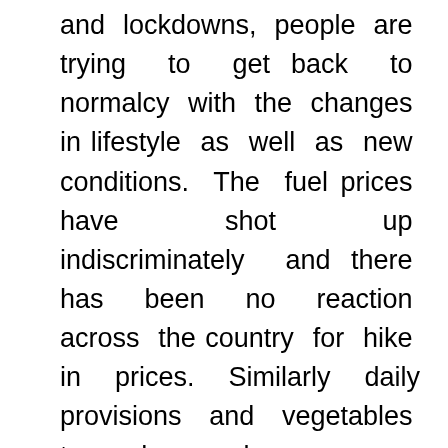and lockdowns, people are trying to get back to normalcy with the changes in lifestyle as well as new conditions. The fuel prices have shot up indiscriminately and there has been no reaction across the country for hike in prices. Similarly daily provisions and vegetables too have become very costly for a common man. Now it is the turn of Telangana government to look at raise price of electricity!